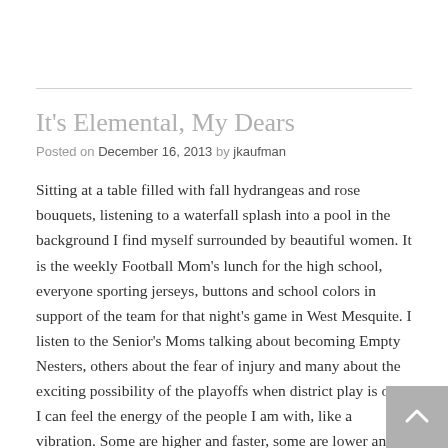It's Elemental, My Dears
Posted on December 16, 2013 by jkaufman
Sitting at a table filled with fall hydrangeas and rose bouquets, listening to a waterfall splash into a pool in the background I find myself surrounded by beautiful women. It is the weekly Football Mom's lunch for the high school, everyone sporting jerseys, buttons and school colors in support of the team for that night's game in West Mesquite. I listen to the Senior's Moms talking about becoming Empty Nesters, others about the fear of injury and many about the exciting possibility of the playoffs when district play is over. I can feel the energy of the people I am with, like a vibration. Some are higher and faster, some are lower and deeper, all of them coming together to make a single harmonious